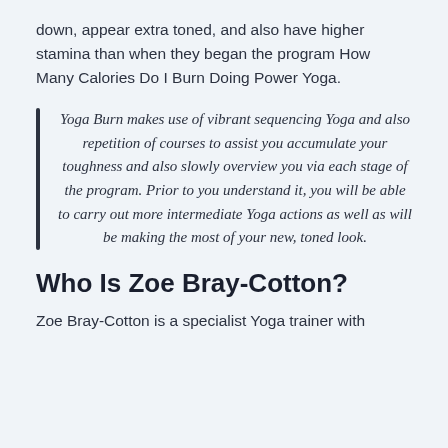down, appear extra toned, and also have higher stamina than when they began the program How Many Calories Do I Burn Doing Power Yoga.
Yoga Burn makes use of vibrant sequencing Yoga and also repetition of courses to assist you accumulate your toughness and also slowly overview you via each stage of the program. Prior to you understand it, you will be able to carry out more intermediate Yoga actions as well as will be making the most of your new, toned look.
Who Is Zoe Bray-Cotton?
Zoe Bray-Cotton is a specialist Yoga trainer with